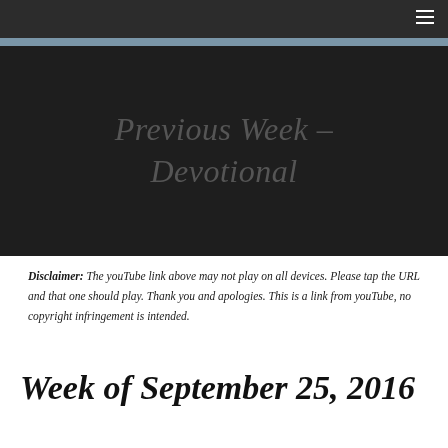≡
[Figure (illustration): Dark background panel with italic text reading 'Previous Week - Devotional']
Disclaimer: The youTube link above may not play on all devices. Please tap the URL and that one should play. Thank you and apologies. This is a link from youTube, no copyright infringement is intended.
Week of September 25, 2016